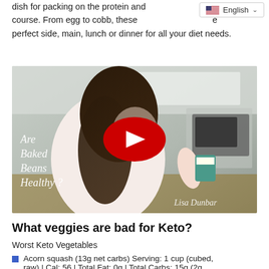dish for packing on the protein and course. From egg to cobb, these perfect side, main, lunch or dinner for all your diet needs.
[Figure (screenshot): YouTube video thumbnail showing a woman in a kitchen holding a can of baked beans, with overlaid italic text 'Are Baked Beans Healthy?' and a red YouTube play button in the center. Watermark 'Lisa Dunbar' in bottom right.]
What veggies are bad for Keto?
Worst Keto Vegetables
Acorn squash (13g net carbs) Serving: 1 cup (cubed, raw) | Cal: 56 | Total Fat: 0g | Total Carbs: 15g (2g…